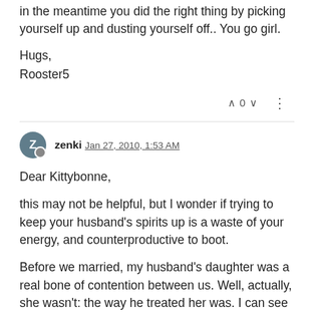in the meantime you did the right thing by picking yourself up and dusting yourself off.. You go girl.
Hugs,
Rooster5
zenki Jan 27, 2010, 1:53 AM
Dear Kittybonne,
this may not be helpful, but I wonder if trying to keep your husband's spirits up is a waste of your energy, and counterproductive to boot.
Before we married, my husband's daughter was a real bone of contention between us. Well, actually, she wasn't: the way he treated her was. I can see real parallels in the situation. And we parted many times during our courtship over this issue; right up until the time when I was so tired of it I told him